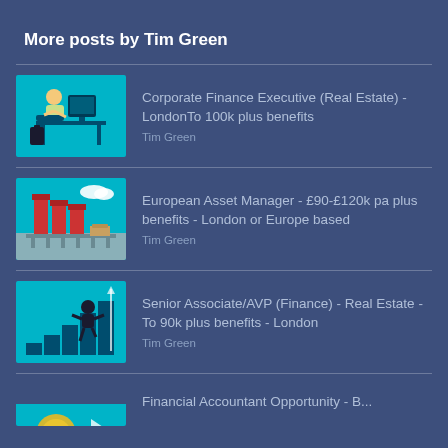More posts by Tim Green
Corporate Finance Executive (Real Estate) - LondonTo 100k plus benefits
Tim Green
European Asset Manager - £90-£120k pa plus benefits - London or Europe based
Tim Green
Senior Associate/AVP (Finance) - Real Estate - To 90k plus benefits - London
Tim Green
Financial Accountant Opportunity - B...